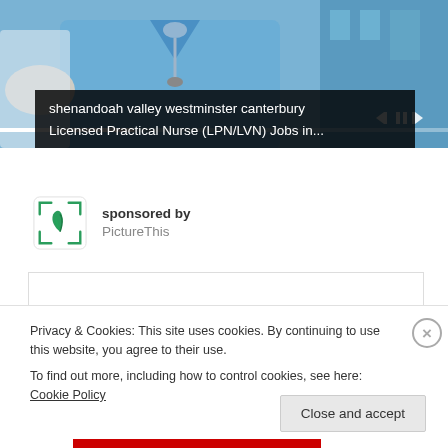[Figure (photo): Screenshot of a website showing a nurse in blue scrubs with a stethoscope, video player with controls, overlaid with a dark caption bar reading 'shenandoah valley westminster canterbury Licensed Practical Nurse (LPN/LVN) Jobs in...']
shenandoah valley westminster canterbury Licensed Practical Nurse (LPN/LVN) Jobs in...
sponsored by PictureThis
Privacy & Cookies: This site uses cookies. By continuing to use this website, you agree to their use.
To find out more, including how to control cookies, see here: Cookie Policy